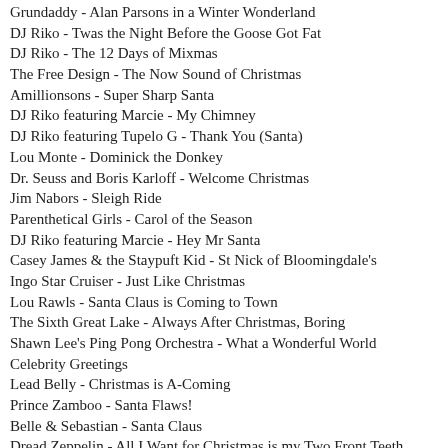Grundaddy - Alan Parsons in a Winter Wonderland
DJ Riko - Twas the Night Before the Goose Got Fat
DJ Riko - The 12 Days of Mixmas
The Free Design - The Now Sound of Christmas
Amillionsons - Super Sharp Santa
DJ Riko featuring Marcie - My Chimney
DJ Riko featuring Tupelo G - Thank You (Santa)
Lou Monte - Dominick the Donkey
Dr. Seuss and Boris Karloff - Welcome Christmas
Jim Nabors - Sleigh Ride
Parenthetical Girls - Carol of the Season
DJ Riko featuring Marcie - Hey Mr Santa
Casey James & the Staypuft Kid - St Nick of Bloomingdale's
Ingo Star Cruiser - Just Like Christmas
Lou Rawls - Santa Claus is Coming to Town
The Sixth Great Lake - Always After Christmas, Boring
Shawn Lee's Ping Pong Orchestra - What a Wonderful World
Celebrity Greetings
Lead Belly - Christmas is A-Coming
Prince Zamboo - Santa Flaws!
Belle & Sebastian - Santa Claus
Dread Zeppelin - All I Want for Christmas is my Two Front Teeth
Avalanches - Winter Wonderland
Pig Latin Christmas - Inglejay Ellsbay
Soulwax - Last Christmas
Vince Guaraldi Trio - Linus and Lucy